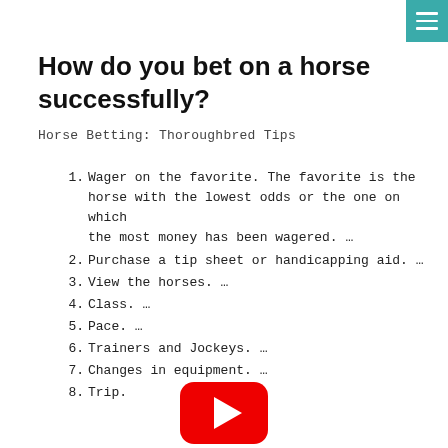How do you bet on a horse successfully?
Horse Betting: Thoroughbred Tips
Wager on the favorite. The favorite is the horse with the lowest odds or the one on which the most money has been wagered. …
Purchase a tip sheet or handicapping aid. …
View the horses. …
Class. …
Pace. …
Trainers and Jockeys. …
Changes in equipment. …
Trip.
[Figure (logo): YouTube play button logo (red rounded square with white triangle)]